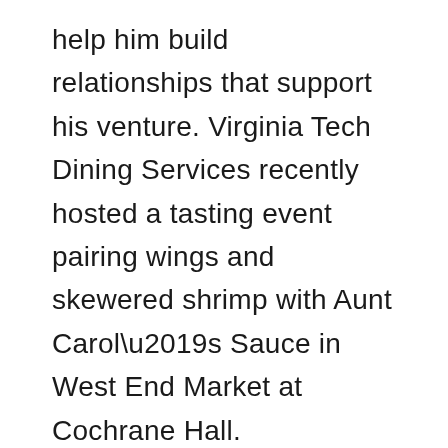help him build relationships that support his venture. Virginia Tech Dining Services recently hosted a tasting event pairing wings and skewered shrimp with Aunt Carol’s Sauce in West End Market at Cochrane Hall.
Chef Scott Surratt said, “Tahjere is energetic and passionate about what he’s done. We wanted to broaden his scope with the campus community and give more students a chance to learn how the Apex Center can support them to launch their own ventures.”
Between greeting patrons at the event, Lewis